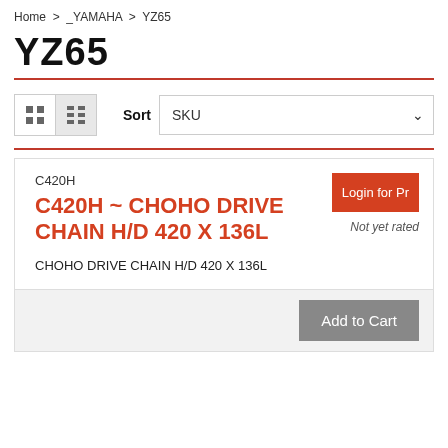Home > _YAMAHA > YZ65
YZ65
Sort SKU
C420H
C420H ~ CHOHO DRIVE CHAIN H/D 420 X 136L
CHOHO DRIVE CHAIN H/D 420 X 136L
Login for Pr
Not yet rated
Add to Cart